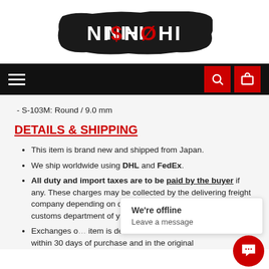[Figure (logo): NI$H0HI logo in white text on black brushstroke background]
[Figure (screenshot): Black navigation bar with hamburger menu on left and two red icon buttons (search, cart) on right]
S-103M: Round / 9.0 mm
DETAILS & SHIPPING
This item is brand new and shipped from Japan.
We ship worldwide using DHL and FedEx.
All duty and import taxes are to be paid by the buyer if any. These charges may be collected by the delivering freight company depending on destination. Please refer to the customs department of your country for import fees details.
Exchanges o... item is defec... within 30 days of purchase and in the original
We're offline
Leave a message